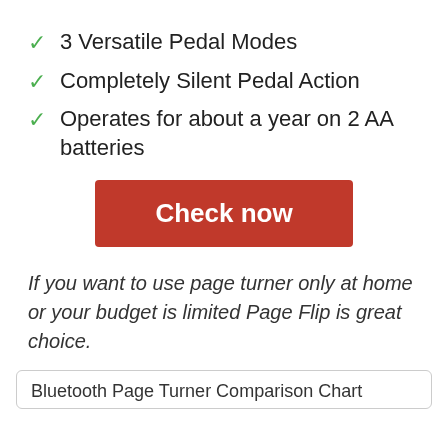3 Versatile Pedal Modes
Completely Silent Pedal Action
Operates for about a year on 2 AA batteries
Check now
If you want to use page turner only at home or your budget is limited Page Flip is great choice.
Bluetooth Page Turner Comparison Chart